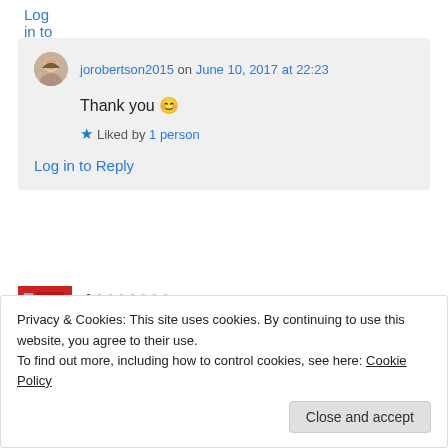Log in to Reply
jorobertson2015 on June 10, 2017 at 22:23
Thank you 😊
★ Liked by 1 person
Log in to Reply
[Figure (other): Advertisement banner with red logo and dot navigation controls. REPORT THIS AD text in corner.]
Privacy & Cookies: This site uses cookies. By continuing to use this website, you agree to their use.
To find out more, including how to control cookies, see here: Cookie Policy
Close and accept